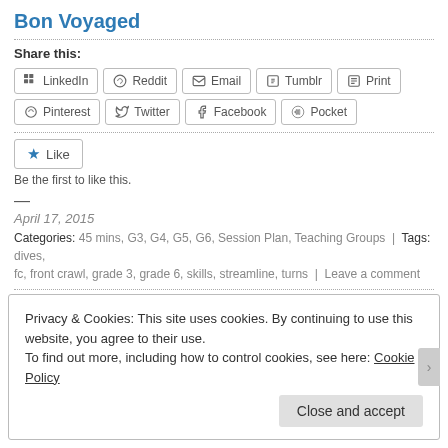Bon Voyaged
Share this:
LinkedIn  Reddit  Email  Tumblr  Print  Pinterest  Twitter  Facebook  Pocket
Like
Be the first to like this.
—
April 17, 2015
Categories: 45 mins, G3, G4, G5, G6, Session Plan, Teaching Groups | Tags: dives, fc, front crawl, grade 3, grade 6, skills, streamline, turns | Leave a comment
Privacy & Cookies: This site uses cookies. By continuing to use this website, you agree to their use.
To find out more, including how to control cookies, see here: Cookie Policy
Close and accept